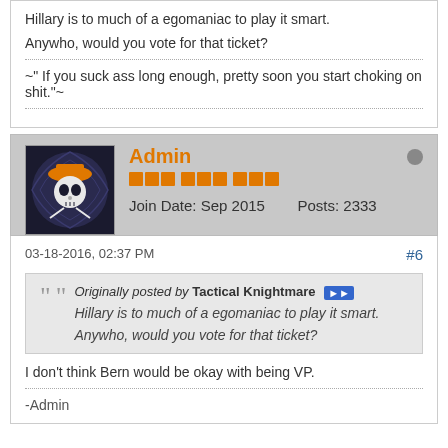Hillary is to much of a egomaniac to play it smart.
Anywho, would you vote for that ticket?
~" If you suck ass long enough, pretty soon you start choking on shit."~
Admin
Join Date: Sep 2015   Posts: 2333
03-18-2016, 02:37 PM
#6
Originally posted by Tactical Knightmare
Hillary is to much of a egomaniac to play it smart.
Anywho, would you vote for that ticket?
I don't think Bern would be okay with being VP.
-Admin